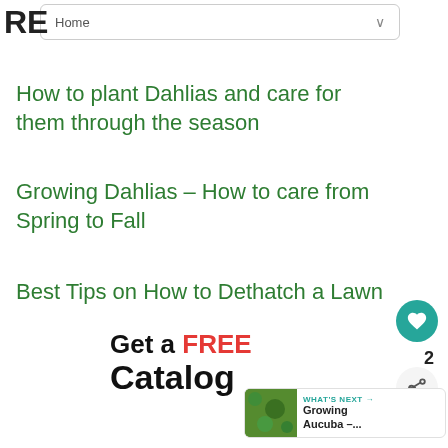Home
How to plant Dahlias and care for them through the season
Growing Dahlias – How to care from Spring to Fall
Best Tips on How to Dethatch a Lawn
[Figure (infographic): Promotional banner saying 'Get a FREE Catalog']
WHAT'S NEXT → Growing Aucuba –...